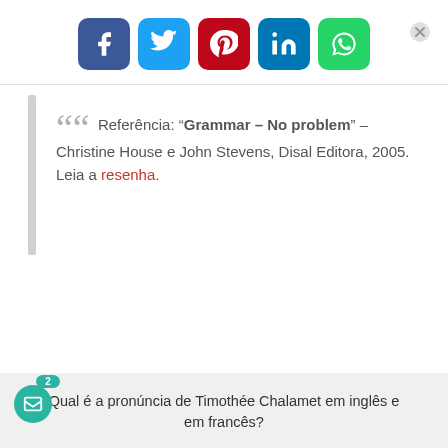[Figure (other): Social media share buttons: Facebook (blue), Twitter (cyan), Pinterest (red), LinkedIn (blue), WhatsApp (green), and a close (X) button]
Referência: “Grammar – No problem” – Christine House e John Stevens, Disal Editora, 2005. Leia a resenha.
Qual é a pronúncia de Timothée Chalamet em inglês e em francês?